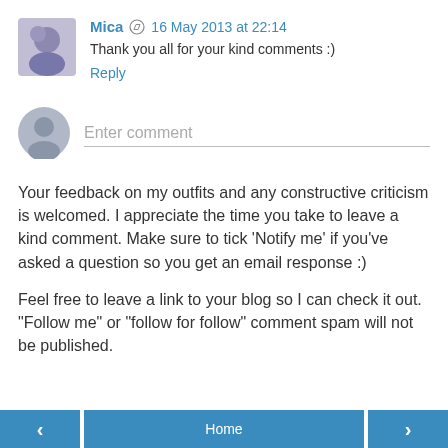[Figure (photo): Small avatar photo of Mica showing a person with purple/blue styling]
Mica ✎ 16 May 2013 at 22:14
Thank you all for your kind comments :)
Reply
[Figure (illustration): Gray placeholder avatar silhouette for comment input]
Enter comment
Your feedback on my outfits and any constructive criticism is welcomed. I appreciate the time you take to leave a kind comment. Make sure to tick 'Notify me' if you've asked a question so you get an email response :)
Feel free to leave a link to your blog so I can check it out. "Follow me" or "follow for follow" comment spam will not be published.
Home